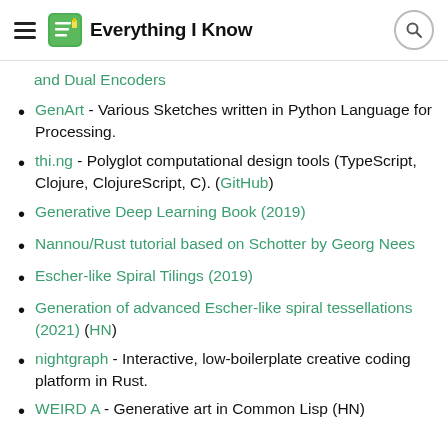Everything I Know
and Dual Encoders
GenArt - Various Sketches written in Python Language for Processing.
thi.ng - Polyglot computational design tools (TypeScript, Clojure, ClojureScript, C). (GitHub)
Generative Deep Learning Book (2019)
Nannou/Rust tutorial based on Schotter by Georg Nees
Escher-like Spiral Tilings (2019)
Generation of advanced Escher-like spiral tessellations (2021) (HN)
nightgraph - Interactive, low-boilerplate creative coding platform in Rust.
WEIRD A - Generative art in Common Lisp (HN)